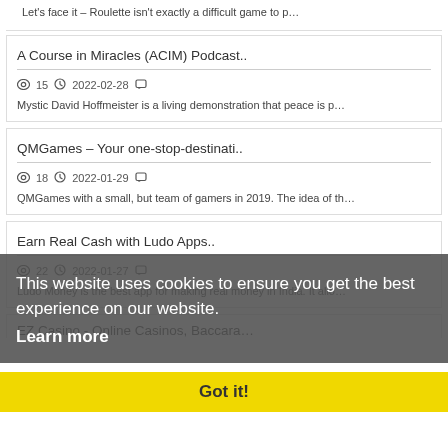Let's face it – Roulette isn't exactly a difficult game to p…
A Course in Miracles (ACIM) Podcast..
👁 15  🕐 2022-02-28  💬
Mystic David Hoffmeister is a living demonstration that peace is p…
QMGames – Your one-stop-destinati..
👁 18  🕐 2022-01-29  💬
QMGames with a small, but team of gamers in 2019. The idea of th…
Earn Real Cash with Ludo Apps..
👁 22  🕐 2022-01-27  💬
Ludo Money is the best app for making real money in India. It allo…
This website uses cookies to ensure you get the best experience on our website.
Learn more
Got it!
EZ Casino - Online Casinos, Baccara…